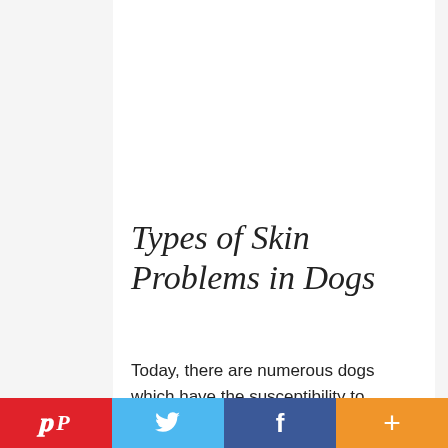Types of Skin Problems in Dogs
Today, there are numerous dogs which have the susceptibility to suffering from different ailments on their skin, from reddened areas to hair loss, promoting what is known as "bald." Without forgetting more…